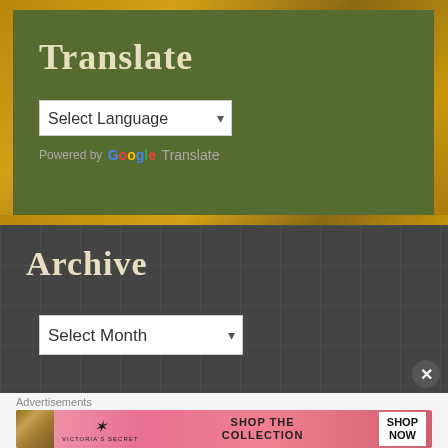Translate
Select Language
Powered by Google Translate
Archive
Select Month
Advertisements
[Figure (photo): Victoria's Secret advertisement banner with model, logo, and 'SHOP THE COLLECTION / SHOP NOW' text on pink background]